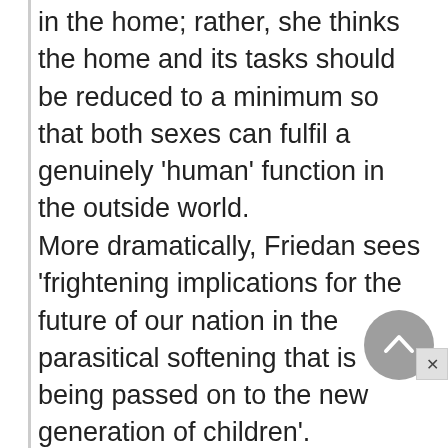in the home; rather, she thinks the home and its tasks should be reduced to a minimum so that both sexes can fulfil a genuinely 'human' function in the outside world.
More dramatically, Friedan sees 'frightening implications for the future of our nation in the parasitical softening that is being passed on to the new generation of children'. Specifically, she identifies 'a recent increase in the overt manifestations of male homosexuality', and comments: